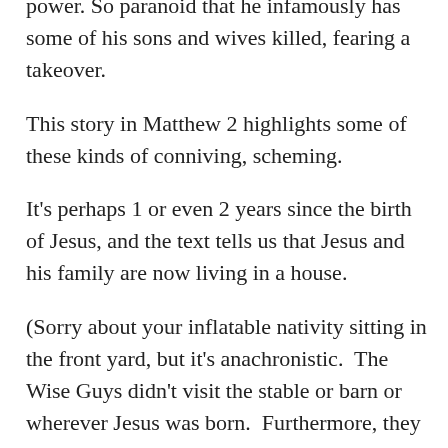power. So paranoid that he infamously has some of his sons and wives killed, fearing a takeover.
This story in Matthew 2 highlights some of these kinds of conniving, scheming.
It's perhaps 1 or even 2 years since the birth of Jesus, and the text tells us that Jesus and his family are now living in a house.
(Sorry about your inflatable nativity sitting in the front yard, but it's anachronistic.  The Wise Guys didn't visit the stable or barn or wherever Jesus was born.  Furthermore, they go to meet a Jesus who is perhaps talking or walking. )
Herod hears from these travelers from the East that there is a newborn King of the Jews.  This is news to Herod, and he is frightened.  Though he hides his